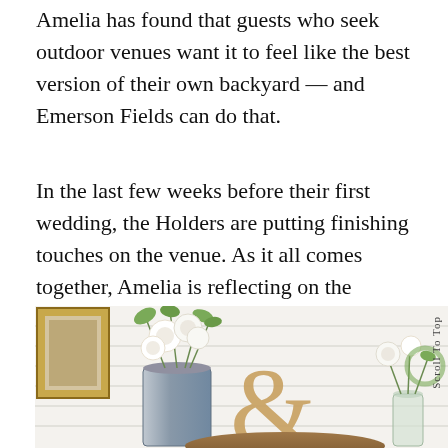Amelia has found that guests who seek outdoor venues want it to feel like the best version of their own backyard — and Emerson Fields can do that.
In the last few weeks before their first wedding, the Holders are putting finishing touches on the venue. As it all comes together, Amelia is reflecting on the building process, showing off the space, and collaborating with families to make each upcoming wedding personal.
[Figure (photo): Wedding venue decor photo showing a galvanized metal bucket with white roses and greenery, a wooden ampersand letter on a wooden tray, a small glass vase with flowers, all arranged against a white shiplap wall with a gold-framed picture visible at top left.]